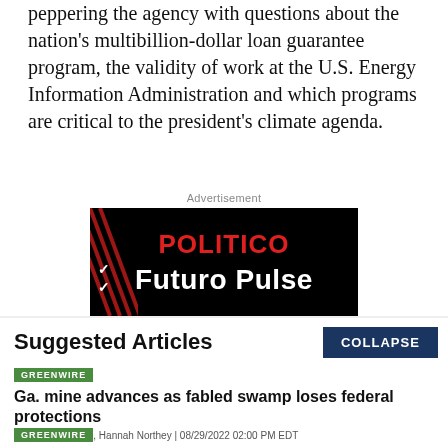peppering the agency with questions about the nation's multibillion-dollar loan guarantee program, the validity of work at the U.S. Energy Information Administration and which programs are critical to the president's climate agenda.
Advertisement
[Figure (other): POLITICO Future Pulse advertisement on black background with red diagonal stripes in top-left corner]
Suggested Articles
GREENWIRE
Ga. mine advances as fabled swamp loses federal protections
BY  Jael Holzman, Hannah Northey | 08/29/2022 02:00 PM EDT
Read More >>
GREENWIRE
FERC endorses nation's largest dam removal project